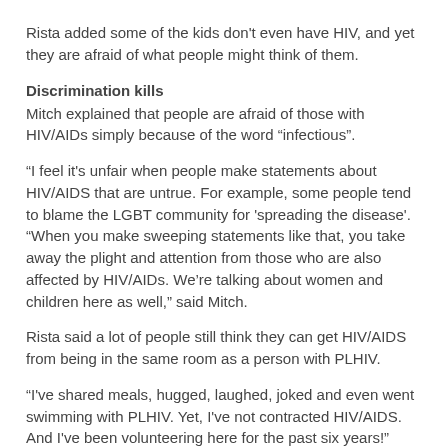Rista added some of the kids don't even have HIV, and yet they are afraid of what people might think of them.
Discrimination kills
Mitch explained that people are afraid of those with HIV/AIDs simply because of the word “infectious”.
“I feel it's unfair when people make statements about HIV/AIDS that are untrue. For example, some people tend to blame the LGBT community for 'spreading the disease'. “When you make sweeping statements like that, you take away the plight and attention from those who are also affected by HIV/AIDs. We’re talking about women and children here as well,” said Mitch.
Rista said a lot of people still think they can get HIV/AIDS from being in the same room as a person with PLHIV.
“I've shared meals, hugged, laughed, joked and even went swimming with PLHIV. Yet, I've not contracted HIV/AIDS. And I've been volunteering here for the past six years!”